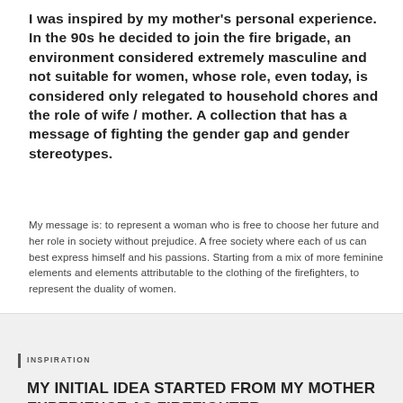I was inspired by my mother's personal experience. In the 90s he decided to join the fire brigade, an environment considered extremely masculine and not suitable for women, whose role, even today, is considered only relegated to household chores and the role of wife / mother. A collection that has a message of fighting the gender gap and gender stereotypes.
My message is: to represent a woman who is free to choose her future and her role in society without prejudice. A free society where each of us can best express himself and his passions. Starting from a mix of more feminine elements and elements attributable to the clothing of the firefighters, to represent the duality of women.
INSPIRATION
MY INITIAL IDEA STARTED FROM MY MOTHER EXPERIENCE AS FIREFIGHTER